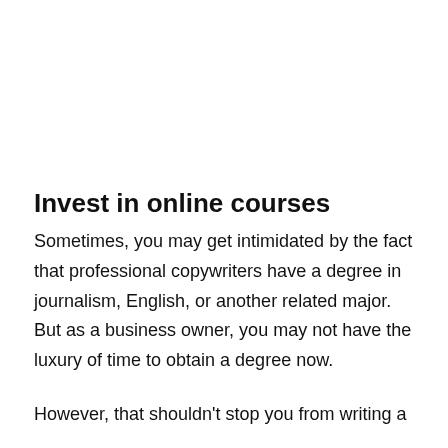Invest in online courses
Sometimes, you may get intimidated by the fact that professional copywriters have a degree in journalism, English, or another related major. But as a business owner, you may not have the luxury of time to obtain a degree now.
However, that shouldn't stop you from writing a